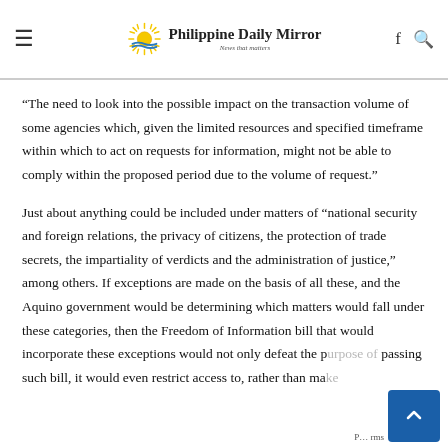Philippine Daily Mirror — News that matters
“The need to look into the possible impact on the transaction volume of some agencies which, given the limited resources and specified timeframe within which to act on requests for information, might not be able to comply within the proposed period due to the volume of request.”
Just about anything could be included under matters of “national security and foreign relations, the privacy of citizens, the protection of trade secrets, the impartiality of verdicts and the administration of justice,” among others. If exceptions are made on the basis of all these, and the Aquino government would be determining which matters would fall under these categories, then the Freedom of Information bill that would incorporate these exceptions would not only defeat the purpose of passing such bill, it would even restrict access to, rather than make